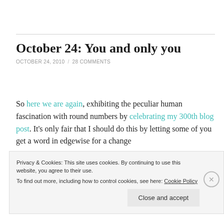October 24: You and only you
OCTOBER 24, 2010 / 28 COMMENTS
So here we are again, exhibiting the peculiar human fascination with round numbers by celebrating my 300th blog post. It’s only fair that I should do this by letting some of you get a word in edgewise for a change — after all, without you there wouldn’t be a me. Or
Privacy & Cookies: This site uses cookies. By continuing to use this website, you agree to their use.
To find out more, including how to control cookies, see here: Cookie Policy
Close and accept